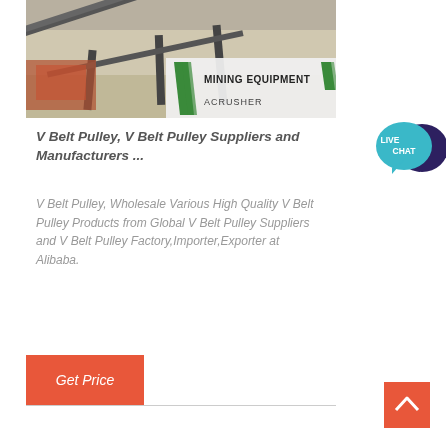[Figure (photo): Mining equipment / conveyor belt system at a quarry, with 'MINING EQUIPMENT ACRUSHER' overlay logo with green slashes]
V Belt Pulley, V Belt Pulley Suppliers and Manufacturers ...
V Belt Pulley, Wholesale Various High Quality V Belt Pulley Products from Global V Belt Pulley Suppliers and V Belt Pulley Factory,Importer,Exporter at Alibaba.
[Figure (infographic): Live Chat bubble icon — teal speech bubble with dark navy chat bubble, text 'LIVE CHAT']
Get Price
[Figure (infographic): Orange scroll-to-top button with upward chevron arrow]